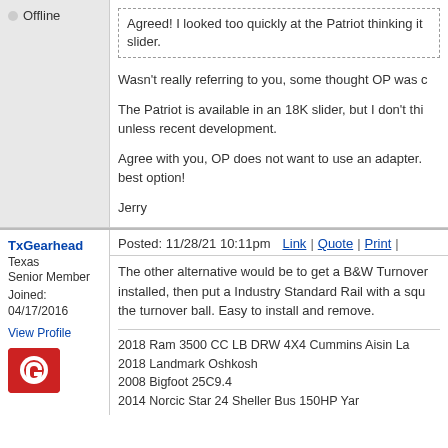Offline
Agreed! I looked too quickly at the Patriot thinking it slider.
Wasn't really referring to you, some thought OP was c

The Patriot is available in an 18K slider, but I don't thi unless recent development.

Agree with you, OP does not want to use an adapter. best option!

Jerry
TxGearhead
Texas
Senior Member
Joined: 04/17/2016
View Profile
Posted: 11/28/21 10:11pm    Link | Quote | Print |
The other alternative would be to get a B&W Turnover installed, then put a Industry Standard Rail with a squ the turnover ball. Easy to install and remove.

2018 Ram 3500 CC LB DRW 4X4 Cummins Aisin La
2018 Landmark Oshkosh
2008 Bigfoot 25C9.4
2014 Norcic Star 24 Sheller Bus 150HP Yar